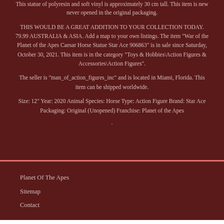This statue of polyresin and soft vinyl is approximately 30 cm tall. This item is new never opened in the original packaging.
THIS WOULD BE A GREAT ADDITION TO YOUR COLLECTION TODAY. 79.99 AUSTRALIA & ASIA. Add a map to your own listings. The item "War of the Planet of the Apes Caesar Horse Statue Star Ace 906863" is in sale since Saturday, October 30, 2021. This item is in the category "Toys & Hobbies\Action Figures & Accessories\Action Figures".
The seller is "man_of_action_figures_inc" and is located in Miami, Florida. This item can be shipped worldwide.
Size: 12" Year: 2020 Animal Species: Horse Type: Action Figure Brand: Star Ace Packaging: Original (Unopened) Franchise: Planet of the Apes
Planet Of The Apes
Sitemap
Contact